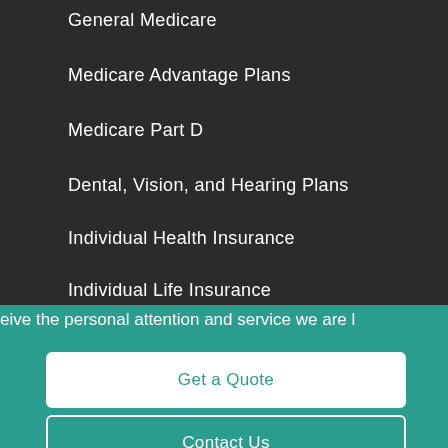General Medicare
Medicare Advantage Plans
Medicare Part D
Dental, Vision, and Hearing Plans
Individual Health Insurance
Individual Life Insurance
See All
eive the personal attention and service we are l
Get a Quote
Contact Us